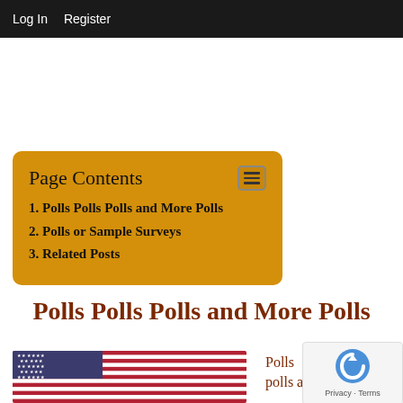Log In   Register
Page Contents
1. Polls Polls Polls and More Polls
2. Polls or Sample Surveys
3. Related Posts
Polls Polls Polls and More Polls
[Figure (photo): American flag image]
Polls polls and